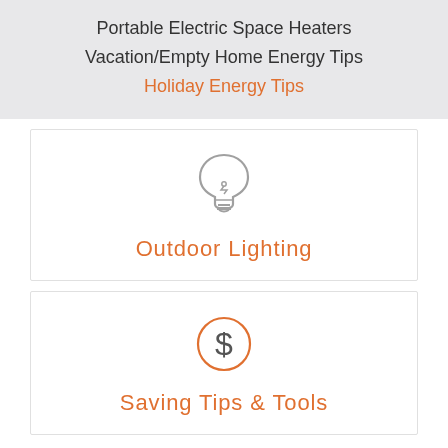Portable Electric Space Heaters
Vacation/Empty Home Energy Tips
Holiday Energy Tips
[Figure (illustration): Light bulb icon in gray outline style]
Outdoor Lighting
[Figure (illustration): Dollar sign inside a circle icon in orange outline style]
Saving Tips & Tools